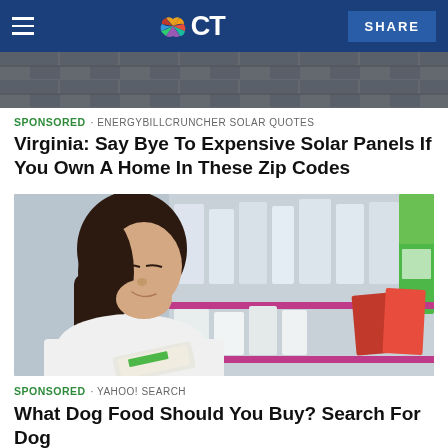NBC CT — SHARE
[Figure (photo): Rooftop/shingles strip image at top of page]
SPONSORED · ENERGYBILLCRUNCHER SOLAR QUOTES
Virginia: Say Bye To Expensive Solar Panels If You Own A Home In These Zip Codes
[Figure (photo): Young woman with long dark hair smiling, looking down in a store aisle with pet food/consumer product packages on shelves behind her]
SPONSORED · YAHOO! SEARCH
What Dog Food Should You Buy? Search For Dog